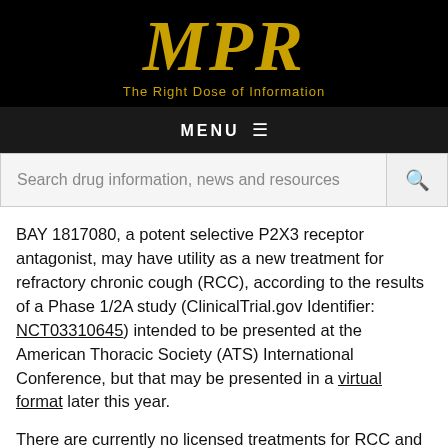[Figure (logo): MPR logo — large gold italic MPR letters on black background with tagline 'The Right Dose of Information' in gold]
MENU ≡
Search drug information, news and resources
BAY 1817080, a potent selective P2X3 receptor antagonist, may have utility as a new treatment for refractory chronic cough (RCC), according to the results of a Phase 1/2A study (ClinicalTrial.gov Identifier: NCT03310645) intended to be presented at the American Thoracic Society (ATS) International Conference, but that may be presented in a virtual format later this year.
There are currently no licensed treatments for RCC and off-label pharmacologic treatments have limited efficacy and